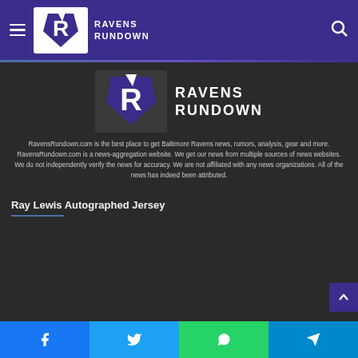Ravens Rundown
[Figure (logo): Ravens Rundown logo - large version with raven icon and text]
RavensRundown.com is the best place to get Baltimore Ravens news, rumors, analysis, gear and more. RavensRundown.com is a news-aggregation website. We get our news from multiple sources of news websites. We do not independently verify the news for accuracy. We are not affiliated with any news organizations. All of the news has indeed been attributed.
Ray Lewis Autographed Jersey